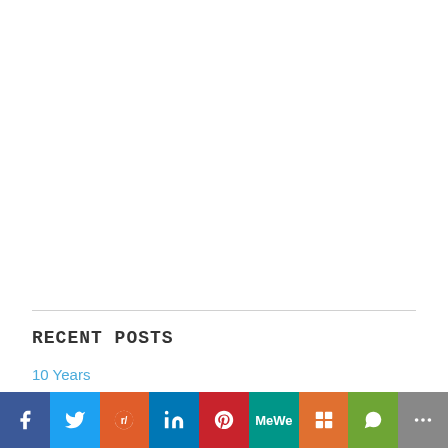RECENT POSTS
10 Years
Seed Calendar for MO 6b
Cast Iron Pan & Walmart
What to Say?
[Figure (infographic): Social sharing bar with icons for Facebook, Twitter, Reddit, LinkedIn, Pinterest, MeWe, Mix, WhatsApp, and More]